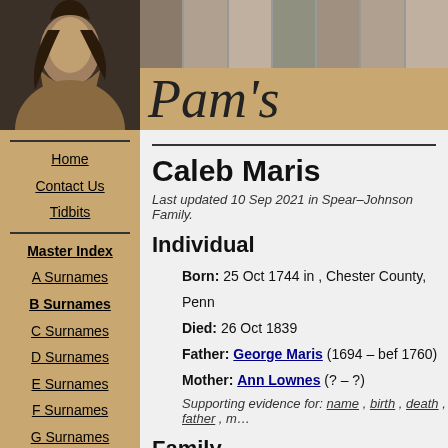[Figure (photo): Header banner with sepia portrait on left and smaller historical photos in top row, tan/brown background with italic script text 'Pam's' on right]
Home
Contact Us
Tidbits
Master Index
A Surnames
B Surnames
C Surnames
D Surnames
E Surnames
F Surnames
G Surnames
H Surnames
I Surnames
J Surnames
K Surnames
Caleb Maris
Last updated 10 Sep 2021 in Spear–Johnson Family.
Individual
Born: 25 Oct 1744 in , Chester County, Penn
Died: 26 Oct 1839
Father: George Maris (1694 – bef 1760)
Mother: Ann Lownes (? – ?)
Supporting evidence for: name , birth , death , father , m…
Family
Spouse/Partner: Ann Fawkes (? – ?)